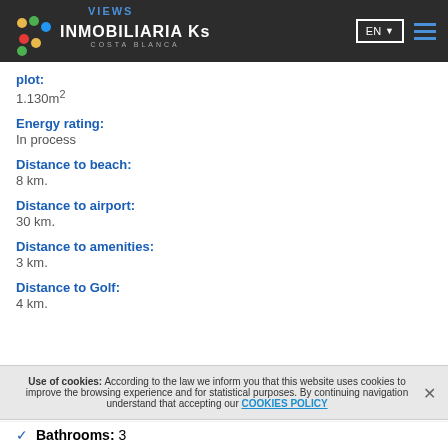VIEWS | INMOBILIARIA Ks COSTA BLANCA | EN
plot:
1.130m²
Energy rating:
In process
Distance to beach:
8 km.
Distance to airport:
30 km.
Distance to amenities:
3 km.
Distance to Golf:
4 km.
Use of cookies: According to the law we inform you that this website uses cookies to improve the browsing experience and for statistical purposes. By continuing navigation understand that accepting our COOKIES POLICY
Bathrooms: 3